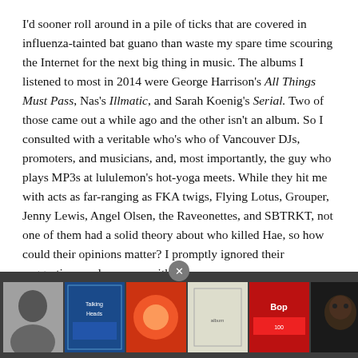I'd sooner roll around in a pile of ticks that are covered in influenza-tainted bat guano than waste my spare time scouring the Internet for the next big thing in music. The albums I listened to most in 2014 were George Harrison's All Things Must Pass, Nas's Illmatic, and Sarah Koenig's Serial. Two of those came out a while ago and the other isn't an album. So I consulted with a veritable who's who of Vancouver DJs, promoters, and musicians, and, most importantly, the guy who plays MP3s at lululemon's hot-yoga meets. While they hit me with acts as far-ranging as FKA twigs, Flying Lotus, Grouper, Jenny Lewis, Angel Olsen, the Raveonettes, and SBTRKT, not one of them had a solid theory about who killed Hae, so how could their opinions matter? I promptly ignored their suggestions and came up with these.
[Figure (screenshot): Advertisement bar at bottom with album thumbnails and popmarket branding]